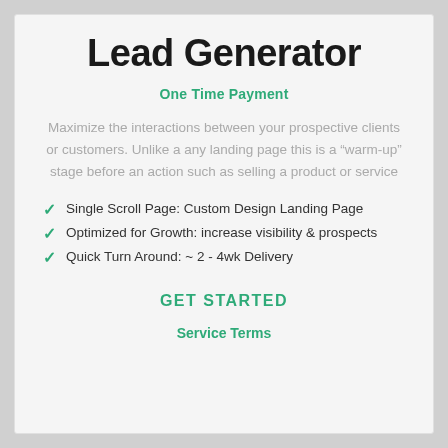Lead Generator
One Time Payment
Maximize the interactions between your prospective clients or customers. Unlike a any landing page this is a “warm-up” stage before an action such as selling a product or service
Single Scroll Page: Custom Design Landing Page
Optimized for Growth: increase visibility & prospects
Quick Turn Around: ~ 2 - 4wk Delivery
GET STARTED
Service Terms